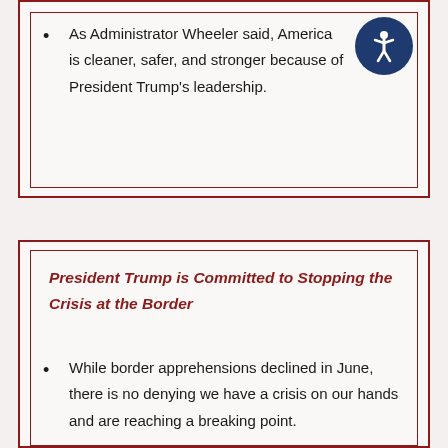As Administrator Wheeler said, America is cleaner, safer, and stronger because of President Trump's leadership.
President Trump is Committed to Stopping the Crisis at the Border
While border apprehensions declined in June, there is no denying we have a crisis on our hands and are reaching a breaking point.
The border apprehensions we saw in May